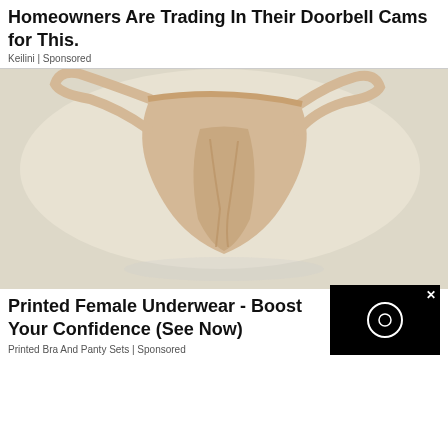Homeowners Are Trading In Their Doorbell Cams for This.
Keilini | Sponsored
[Figure (photo): A beige/nude colored women's thong underwear laid flat on a white surface]
Printed Female Underwear - Boost Your Confidence (See Now)
Printed Bra And Panty Sets | Sponsored
[Figure (other): Black video overlay box with white circle and X close button]